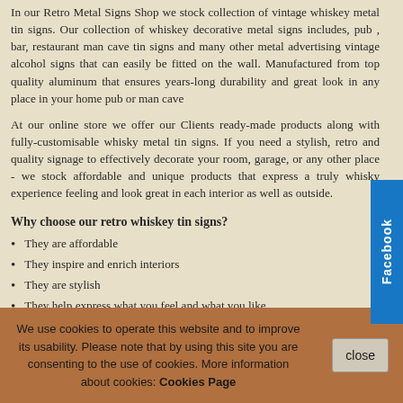In our Retro Metal Signs Shop we stock collection of vintage whiskey metal tin signs. Our collection of whiskey decorative metal signs includes, pub , bar, restaurant man cave tin signs and many other metal advertising vintage alcohol signs that can easily be fitted on the wall. Manufactured from top quality aluminum that ensures years-long durability and great look in any place in your home pub or man cave
At our online store we offer our Clients ready-made products along with fully-customisable whisky metal tin signs. If you need a stylish, retro and quality signage to effectively decorate your room, garage, or any other place - we stock affordable and unique products that express a truly whisky experience feeling and look great in each interior as well as outside.
Why choose our retro whiskey tin signs?
They are affordable
They inspire and enrich interiors
They are stylish
They help express what you feel and what you like
We use cookies to operate this website and to improve its usability. Please note that by using this site you are consenting to the use of cookies. More information about cookies: Cookies Page